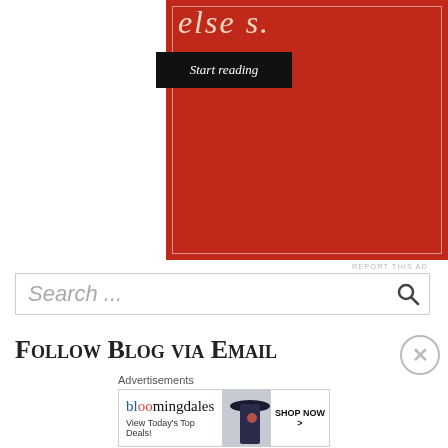[Figure (screenshot): Red advertisement banner with italic serif text 'else s.' and a black 'Start reading' button]
REPORT THIS AD
Search ...
Follow Blog via Email
Advertisements
[Figure (screenshot): Bloomingdales advertisement banner: bloomingdales logo, 'View Today's Top Deals!', woman in hat, 'SHOP NOW >']